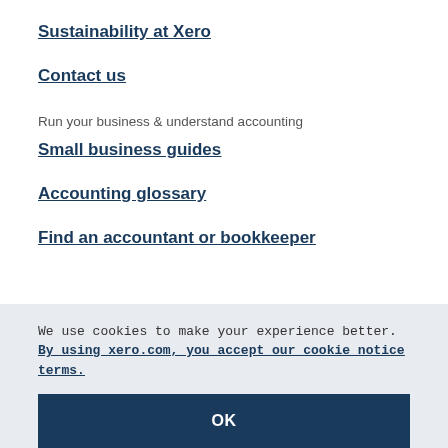Sustainability at Xero
Contact us
Run your business & understand accounting
Small business guides
Accounting glossary
Find an accountant or bookkeeper
We use cookies to make your experience better. By using xero.com, you accept our cookie notice terms.
OK